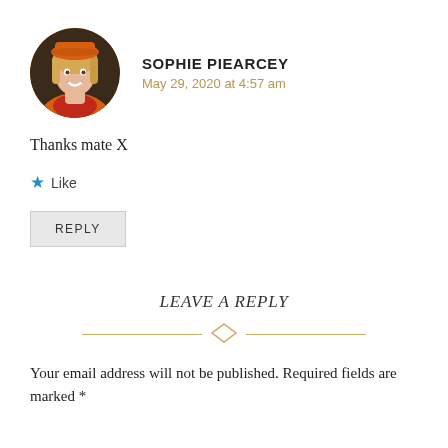[Figure (photo): Circular avatar photo of Sophie Piearcey, a woman with long blonde hair wearing an orange hat and orange jacket with red scarf, smiling, against a dark background.]
SOPHIE PIEARCEY
May 29, 2020 at 4:57 am
Thanks mate X
★ Like
REPLY
LEAVE A REPLY
Your email address will not be published. Required fields are marked *